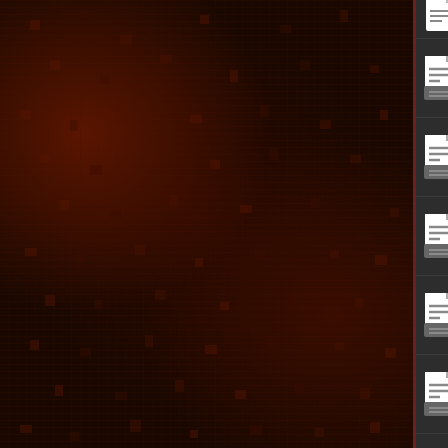final_fight.txt
gradius_iii.txt
hal's_hole-in-one_golf.txt
indiana_jones'_greatest_adventure
ken_griffey_jr._winning_run_base
king_of_dragons.txt
kirby's_dream_land_3.txt
knights_of_the_round.txt
lethal_weapon.txt
magical_quest_starring_mickey_mo
mario_is_missing.txt
mega_man_soccer.txt
mega_man_x.txt